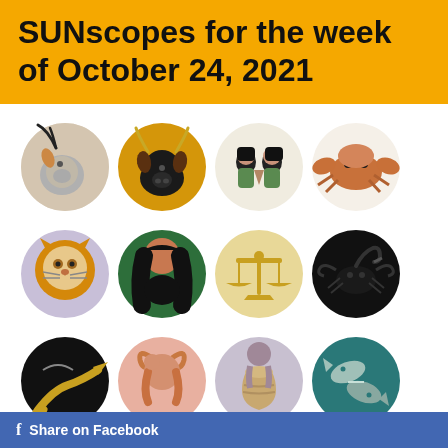SUNscopes for the week of October 24, 2021
[Figure (illustration): Grid of 12 zodiac sign circular illustrations: Capricorn (goat), Taurus (bull), Gemini (twins), Cancer (crab), Leo (lion), Virgo (woman), Libra (scales), Scorpio (scorpion), Sagittarius (archer/snake), Capricorn/Aries (ram), Aquarius (water bearer), Pisces (fish)]
Share on Facebook